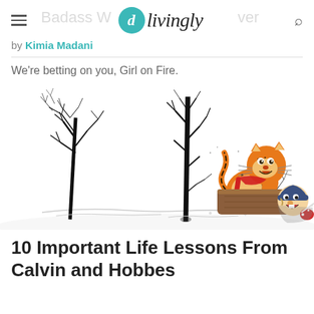Badass Women Never | livingly (logo)
by Kimia Madani
We're betting on you, Girl on Fire.
[Figure (illustration): Calvin and Hobbes cartoon: Hobbes (tiger) pushes a wooden sled/toboggan through snowy trees while Calvin rides on the front, winter scene with bare black trees in background and snow on the ground.]
10 Important Life Lessons From Calvin and Hobbes